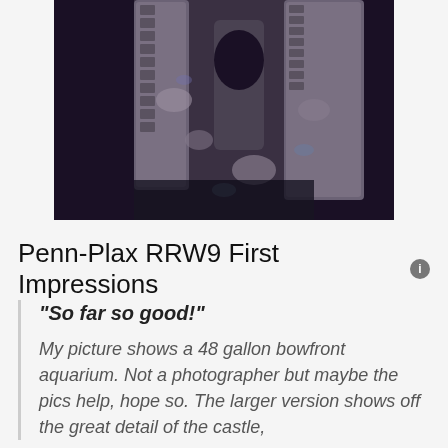[Figure (photo): Close-up photo of a Penn-Plax RRW9 aquarium castle decoration showing detailed rocky/stone texture with arches and towers, dark background.]
Penn-Plax RRW9 First Impressions
"So far so good!"
My picture shows a 48 gallon bowfront aquarium. Not a photographer but maybe the pics help, hope so. The larger version shows off the great detail of the castle,